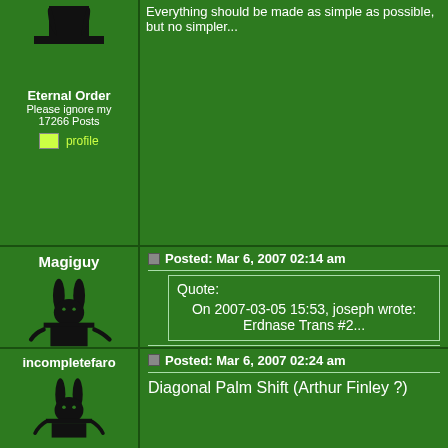Eternal Order
Please ignore my
17266 Posts
Everything should be made as simple as possible, but no simpler...
Magiguy
Inner circle
Seattle, WA
5435 Posts
Posted: Mar 6, 2007 02:14 am
Quote:
On 2007-03-05 15:53, joseph wrote:
Erdnase Trans #2...
For the sake of continuing, that should probably be "Transformations, Second Method"

BTW... I love the Lao Tsu (Lao-Tzu) quote!!
incompletefaro
Posted: Mar 6, 2007 02:24 am
Diagonal Palm Shift (Arthur Finley ?)